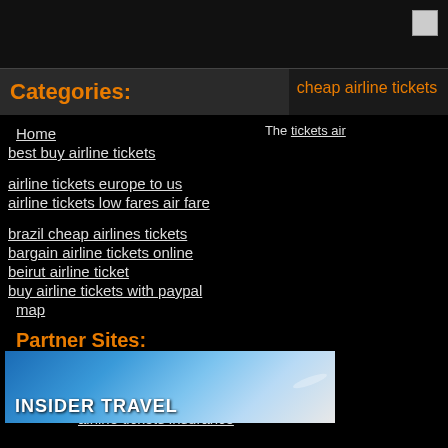Categories:
cheap airline tickets
Home
best buy airline tickets
The tickets air...
airline tickets europe to us
airline tickets low fares air fare
brazil cheap airlines tickets
bargain airline tickets online
beirut airline ticket
buy airline tickets with paypal
map
Partner Sites:
cheap flight really cheap airline ticket bermuda
airline tickets insurance
[Figure (photo): INSIDER TRAVEL banner with airplane and blue sky]